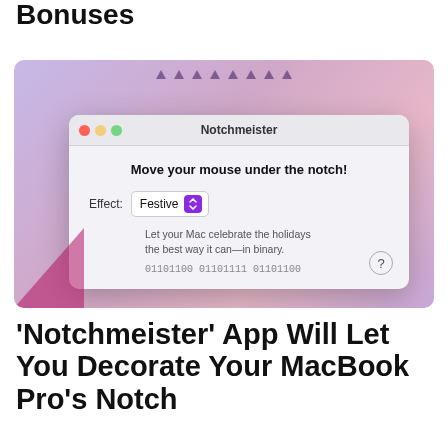Bonuses
[Figure (screenshot): macOS app screenshot of Notchmeister showing a dialog with traffic light buttons, title 'Notchmeister', heading 'Move your mouse under the notch!', Effect dropdown set to 'Festive', description text 'Let your Mac celebrate the holidays the best way it can—in binary.', binary text '01101100 01101111 01101100', and a help button. Set against a purple-pink gradient background with decorative triangle dots at the top.]
'Notchmeister' App Will Let You Decorate Your MacBook Pro's Notch